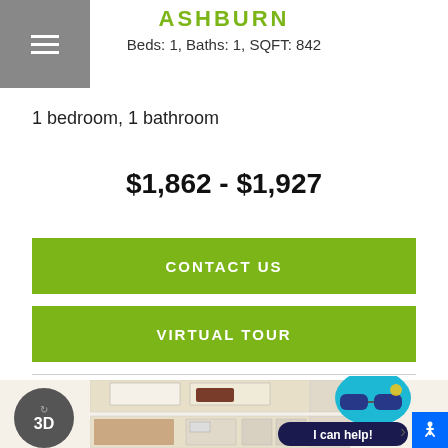ASHBURN
Beds: 1, Baths: 1, SQFT: 842
1 bedroom, 1 bathroom
$1,862 - $1,927
CONTACT US
VIRTUAL TOUR
[Figure (illustration): 3D floor plan of 1-bedroom, 1-bathroom apartment unit called Ashburn, showing bedroom, bathroom, kitchen, and living area from overhead view. A 3D rotate button and a chat mascot with sunglasses overlay the image.]